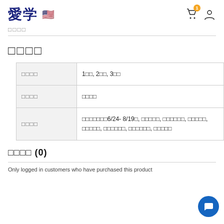愛学 🇺🇸
□□□□
□□□□
| □□□□ |  |
| --- | --- |
| □□□□ | 1□□, 2□□, 3□□ |
| □□□□ | □□□□ |
| □□□□ | □□□□□□□6/24- 8/19□, □□□□□, □□□□□□, □□□□□, □□□□□, □□□□□□, □□□□□□, □□□□□ |
□□□□ (0)
Only logged in customers who have purchased this product